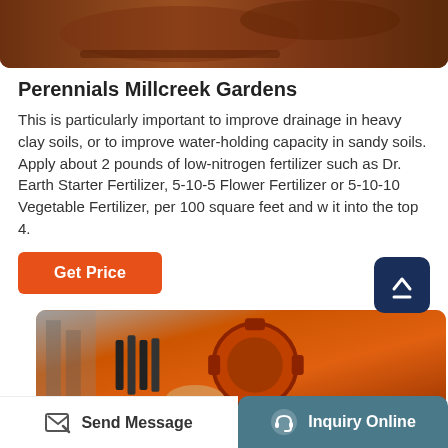[Figure (photo): Top photo of rusty industrial/mechanical equipment, brownish tones]
Perennials Millcreek Gardens
This is particularly important to improve drainage in heavy clay soils, or to improve water-holding capacity in sandy soils. Apply about 2 pounds of low-nitrogen fertilizer such as Dr. Earth Starter Fertilizer, 5-10-5 Flower Fertilizer or 5-10-10 Vegetable Fertilizer, per 100 square feet and w it into the top 4.
[Figure (other): Orange button UI element - Get Price button]
[Figure (photo): Bottom photo of orange industrial gear/fertilizer spreading equipment]
Send Message   Inquiry Online